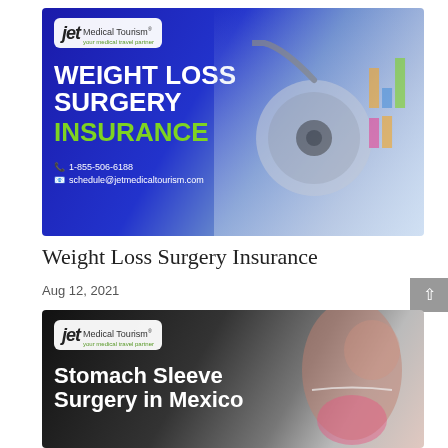[Figure (photo): Promotional banner for Jet Medical Tourism featuring 'WEIGHT LOSS SURGERY INSURANCE' text in white and green on a blue gradient background, with a stethoscope and financial charts on the right, plus contact phone and email.]
Weight Loss Surgery Insurance
Aug 12, 2021
[Figure (photo): Promotional banner for Jet Medical Tourism featuring 'Stomach Sleeve Surgery in Mexico' text in white on a dark background, with an image of a woman measuring her waist on the right.]